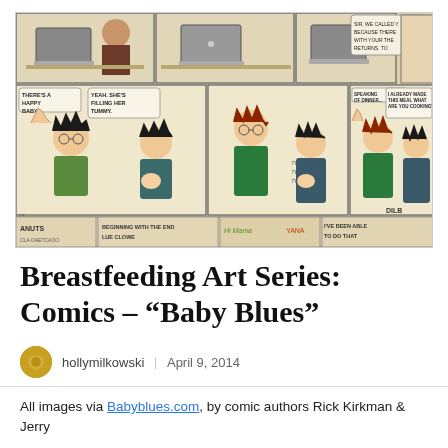[Figure (photo): A photograph of a newspaper page showing Baby Blues comic strip with characters discussing breastfeeding, alongside parts of other comic strips (Peanuts, Dilbert) visible at edges]
Breastfeeding Art Series: Comics – “Baby Blues”
hollymilkowski | April 9, 2014
All images via Babyblues.com, by comic authors Rick Kirkman & Jerry